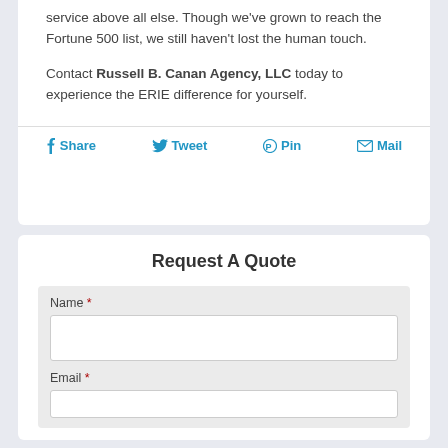service above all else. Though we've grown to reach the Fortune 500 list, we still haven't lost the human touch.

Contact Russell B. Canan Agency, LLC today to experience the ERIE difference for yourself.
Share  Tweet  Pin  Mail
Request A Quote
Name *
Email *